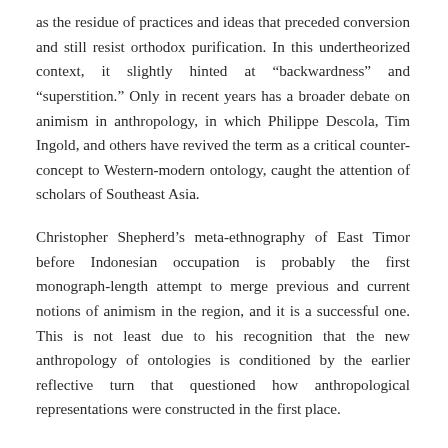as the residue of practices and ideas that preceded conversion and still resist orthodox purification. In this undertheorized context, it slightly hinted at “backwardness” and “superstition.” Only in recent years has a broader debate on animism in anthropology, in which Philippe Descola, Tim Ingold, and others have revived the term as a critical counter-concept to Western-modern ontology, caught the attention of scholars of Southeast Asia.
Christopher Shepherd’s meta-ethnography of East Timor before Indonesian occupation is probably the first monograph-length attempt to merge previous and current notions of animism in the region, and it is a successful one. This is not least due to his recognition that the new anthropology of ontologies is conditioned by the earlier reflective turn that questioned how anthropological representations were constructed in the first place.